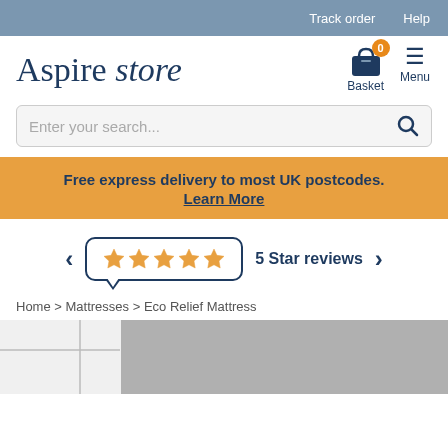Track order  Help
[Figure (logo): Aspire store logo with basket icon (badge: 0) and menu icon]
[Figure (screenshot): Search bar with placeholder text 'Enter your search...' and magnifying glass icon]
Free express delivery to most UK postcodes.
Learn More
[Figure (other): 5 star rating speech bubble with 5 gold stars and text '5 Star reviews', with left and right navigation arrows]
Home > Mattresses > Eco Relief Mattress
[Figure (photo): Partial product photo of mattress in greyscale room setting]